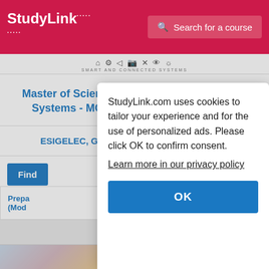StudyLink | Search for a course
[Figure (logo): Smart and Connected Systems icons row]
Master of Science in Automotive Embedded Systems - MGCER, India and ESIGELEC
ESIGELEC, Graduate School of Engineering
Find
Prepa (Mod...
StudyLink.com uses cookies to tailor your experience and for the use of personalized ads. Please click OK to confirm consent.
Learn more in our privacy policy
OK